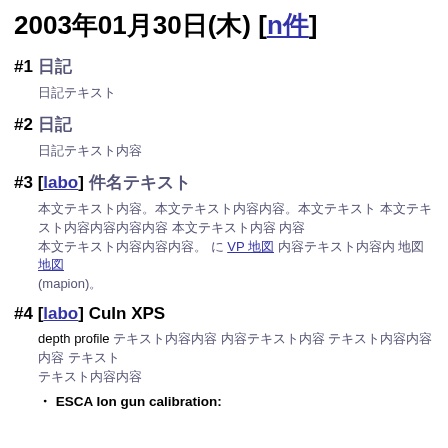2003年01月30日(木) [n件]
#1 日記
日記テキスト
#2 日記
日記テキスト内容
#3 [labo] 件名テキスト
本文テキスト。VP 地図 件名 地図 (mapion)。
#4 [labo] CuIn XPS
depth profile テキスト内容。
・ ESCA Ion gun calibration: